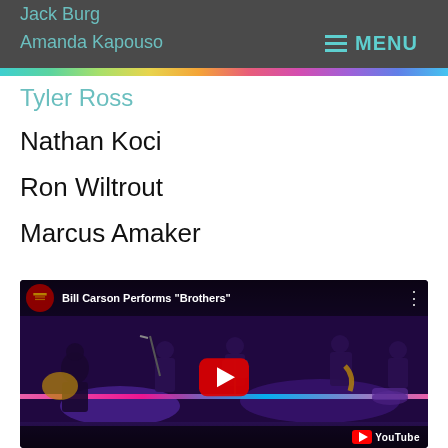Jack Burg
Amanda Kapouso
MENU
Tyler Ross
Nathan Koci
Ron Wiltrout
Marcus Amaker
[Figure (screenshot): YouTube video thumbnail showing Bill Carson Performs "Brothers" with a band performing on a purple-lit stage. Red YouTube play button in center. YouTube logo in bottom right corner.]